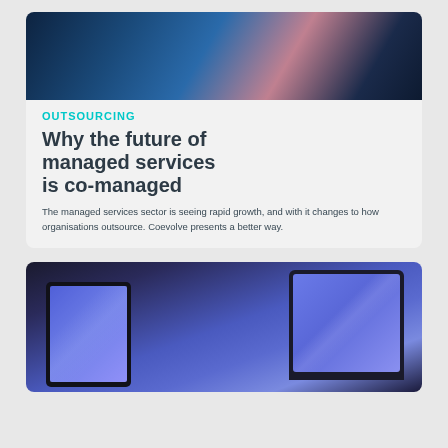[Figure (photo): Hero image showing digital/technology themed background with blue and pink tones, appears to show hands with a device]
OUTSOURCING
Why the future of managed services is co-managed
The managed services sector is seeing rapid growth, and with it changes to how organisations outsource. Coevolve presents a better way.
[Figure (photo): Image showing multiple devices — a laptop and tablet with blue/purple gradient screens displayed side by side]